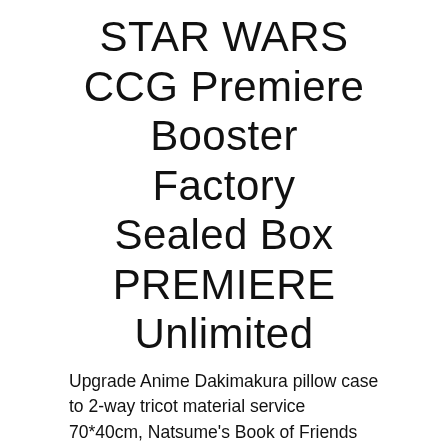STAR WARS CCG Premiere Booster Factory Sealed Box PREMIERE Unlimited
Upgrade Anime Dakimakura pillow case to 2-way tricot material service 70*40cm, Natsume's Book of Friends Takashi Natsume & Nyanko-